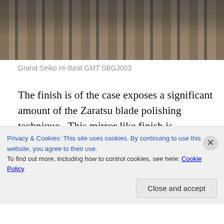[Figure (photo): Close-up photo of a metal watch bracelet (Grand Seiko Hi-Beat GMT SBGJ003) on a wrist, showing detailed link construction and metallic finish against skin.]
Grand Seiko Hi-Beat GMT SBGJ003
The finish is of the case exposes a significant amount of the Zaratsu blade polishing technique.  This mirror like finish is considered to be one of the finest in the industry, and dates back to 1964 when Seiko first started using it on the Grand Seiko wrist watches.  These also have a beautiful slightly domed sapphire crystal with Seiko's proprietary anti-reflective coating, eliminating 99.9% of
Privacy & Cookies: This site uses cookies. By continuing to use this website, you agree to their use.
To find out more, including how to control cookies, see here: Cookie Policy
Close and accept